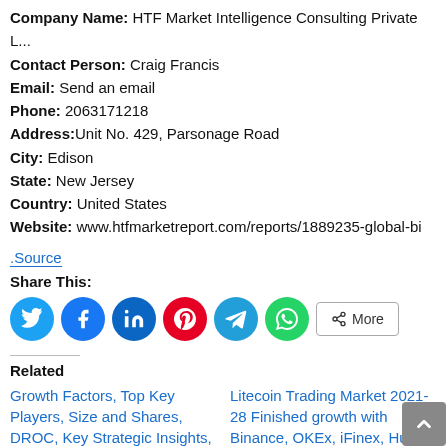Company Name: HTF Market Intelligence Consulting Private L...
Contact Person: Craig Francis
Email: Send an email
Phone: 2063171218
Address: Unit No. 429, Parsonage Road
City: Edison
State: New Jersey
Country: United States
Website: www.htfmarketreport.com/reports/1889235-global-bi
.Source
Share This:
[Figure (other): Social share icons: Twitter, Facebook, LinkedIn, Pinterest, Telegram, WhatsApp, and More button]
Related
Growth Factors, Top Key Players, Size and Shares, DROC, Key Strategic Insights, Emerging Technologies and Forecast
Litecoin Trading Market 2021-28 Finished growth with Binance, OKEx, iFinex, Huobi, Coinbase, Bithumb Korea, COINUT, Forex Club